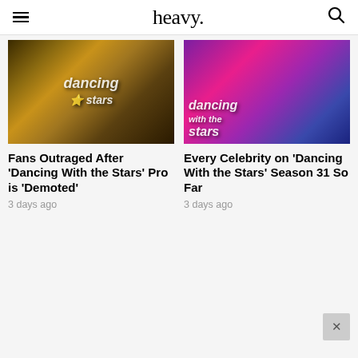heavy.
[Figure (photo): Dancing with the Stars cast photo with mirror ball trophy, group of people in formal/glamorous attire on a golden set]
Fans Outraged After 'Dancing With the Stars' Pro is 'Demoted'
3 days ago
[Figure (photo): Dancing with the Stars Season 31 promo image with colorful pink/purple background and dancers, show logo visible]
Every Celebrity on 'Dancing With the Stars' Season 31 So Far
3 days ago